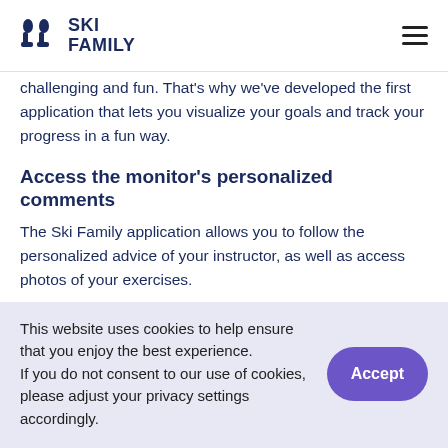SKI FAMILY
challenging and fun. That's why we've developed the first application that lets you visualize your goals and track your progress in a fun way.
Access the monitor's personalized comments
The Ski Family application allows you to follow the personalized advice of your instructor, as well as access photos of your exercises.
A partnership with the region
This website uses cookies to help ensure that you enjoy the best experience.
If you do not consent to our use of cookies, please adjust your privacy settings accordingly.